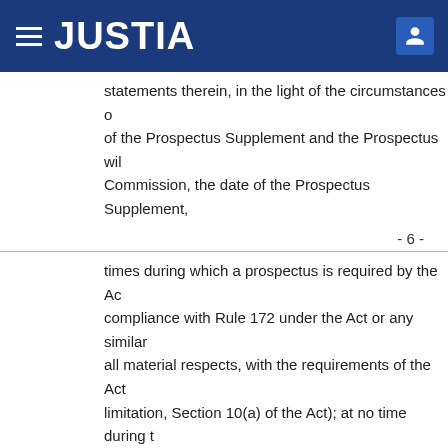JUSTIA
statements therein, in the light of the circumstances of the Prospectus Supplement and the Prospectus will Commission, the date of the Prospectus Supplement,
- 6 -
times during which a prospectus is required by the Act compliance with Rule 172 under the Act or any similar all material respects, with the requirements of the Act limitation, Section 10(a) of the Act); at no time during the Prospectus Supplement and the date the Prospectus ends at the later of the Time of Purchase and the end required by the Act to be delivered (whether physically Act or any similar rule) in connection with any sale of Securities or the Prospectus, as then amended or supplemented or omit to state a material fact necessary in order to make circumstances under which they were made, not misleading